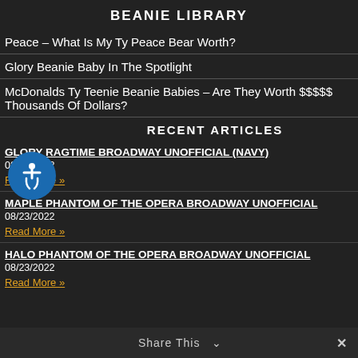BEANIE LIBRARY
Peace – What Is My Ty Peace Bear Worth?
Glory Beanie Baby In The Spotlight
McDonalds Ty Teenie Beanie Babies – Are They Worth $$$$$ Thousands Of Dollars?
RECENT ARTICLES
GLORY RAGTIME BROADWAY UNOFFICIAL (NAVY)
08/23/2022
Read More »
MAPLE PHANTOM OF THE OPERA BROADWAY UNOFFICIAL
08/23/2022
Read More »
HALO PHANTOM OF THE OPERA BROADWAY UNOFFICIAL
08/23/2022
Read More »
Share This  ∨